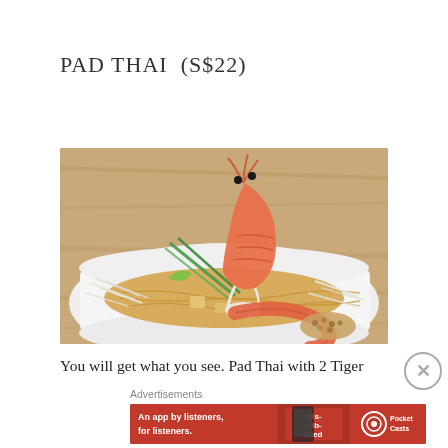PAD THAI (S$22)
[Figure (photo): A plate of Pad Thai noodles with two large Tiger prawns/shrimp standing upright, garnished with bean sprouts, green onions, lime wedge, and crushed peanuts on a white rectangular plate, on a wooden table background.]
You will get what you see. Pad Thai with 2 Tiger
Advertisements
[Figure (photo): Advertisement banner: 'An app by listeners, for listeners.' with Pocket Casts logo and a phone showing 'Distributed' text, red background.]